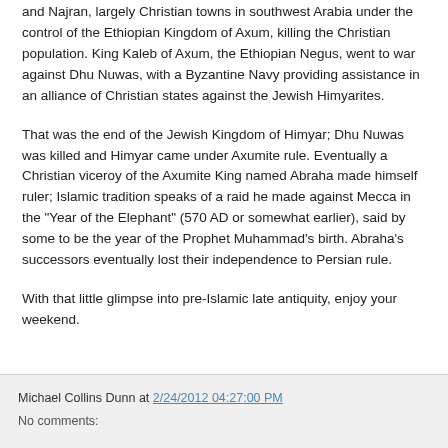and Najran, largely Christian towns in southwest Arabia under the control of the Ethiopian Kingdom of Axum, killing the Christian population. King Kaleb of Axum, the Ethiopian Negus, went to war against Dhu Nuwas, with a Byzantine Navy providing assistance in an alliance of Christian states against the Jewish Himyarites.
That was the end of the Jewish Kingdom of Himyar; Dhu Nuwas was killed and Himyar came under Axumite rule. Eventually a Christian viceroy of the Axumite King named Abraha made himself ruler; Islamic tradition speaks of a raid he made against Mecca in the "Year of the Elephant" (570 AD or somewhat earlier), said by some to be the year of the Prophet Muhammad's birth. Abraha's successors eventually lost their independence to Persian rule.
With that little glimpse into pre-Islamic late antiquity, enjoy your weekend.
Michael Collins Dunn at 2/24/2012 04:27:00 PM
No comments: